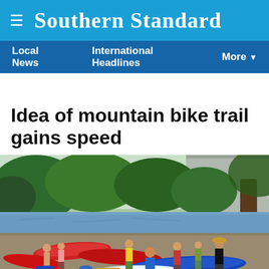Southern Standard
Local News   International Headlines   More
Idea of mountain bike trail gains speed
[Figure (photo): Group of people with kayaks and canoes on a riverbank. Multiple colorful kayaks (red, blue, white) are visible on a gravel shore. People in summer clothing are preparing to launch. Green trees and a river are in the background with a concrete structure visible.]